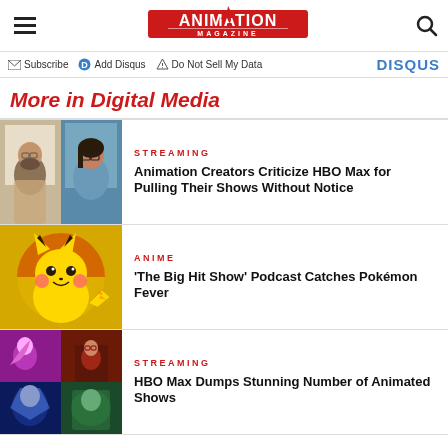Animation Magazine
Subscribe  Add Disqus  Do Not Sell My Data  DISQUS
More in Digital Media
[Figure (photo): Two people portraits side by side in a 2x2 grid thumbnail]
STREAMING
Animation Creators Criticize HBO Max for Pulling Their Shows Without Notice
[Figure (illustration): Pikachu character on yellow/orange background]
ANIME
'The Big Hit Show' Podcast Catches Pokémon Fever
[Figure (illustration): Four animated show screenshots in a 2x2 grid]
STREAMING
HBO Max Dumps Stunning Number of Animated Shows